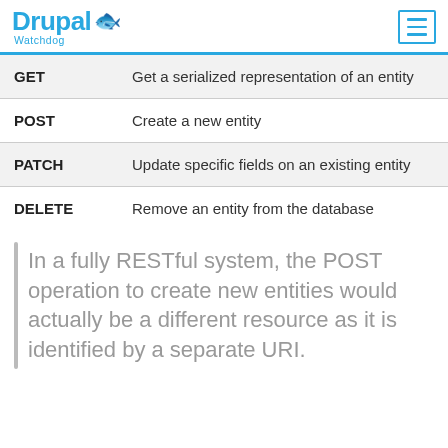Drupal Watchdog
| Method | Description |
| --- | --- |
| GET | Get a serialized representation of an entity |
| POST | Create a new entity |
| PATCH | Update specific fields on an existing entity |
| DELETE | Remove an entity from the database |
In a fully RESTful system, the POST operation to create new entities would actually be a different resource as it is identified by a separate URI.